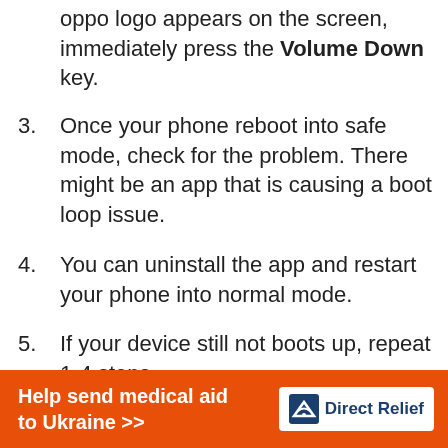oppo logo appears on the screen, immediately press the Volume Down key.
3. Once your phone reboot into safe mode, check for the problem. There might be an app that is causing a boot loop issue.
4. You can uninstall the app and restart your phone into normal mode.
5. If your device still not boots up, repeat 1-4 steps.
Boot Oppo A1 into Recovery Mode: Once your device boot into recovery
Help send medical aid to Ukraine >>